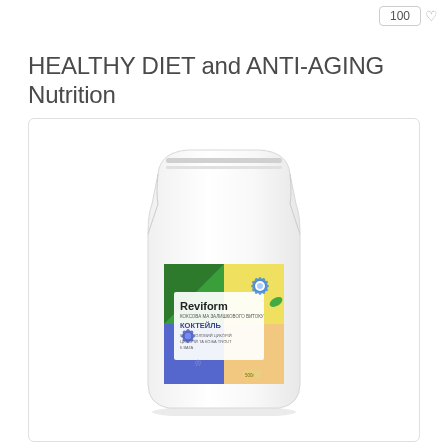100
HEALTHY DIET and ANTI-AGING Nutrition
[Figure (photo): White stand-up pouch bag with colorful label for Reviform nutritional cocktail product, showing green, yellow, blue and peach color quadrants with a cornflower illustration and the Cyrillic text КОКТЕЙЛЬ]